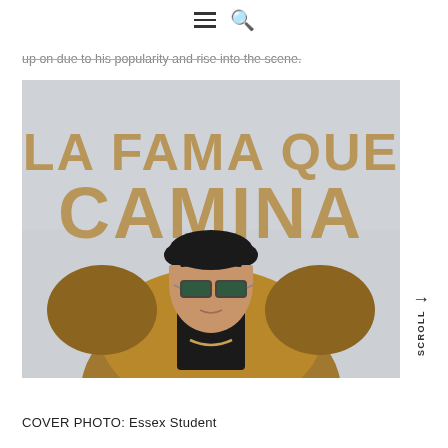navigation menu and search icons
up on due to his popularity and rise into the scene.
[Figure (photo): Promotional cover image for 'La Fama Que Camina' featuring a man wearing sunglasses and a fur-trimmed jacket, with large bold gold/tan text reading 'LA FAMA QUE CAMINA' on a light textured background.]
COVER PHOTO: Essex Student